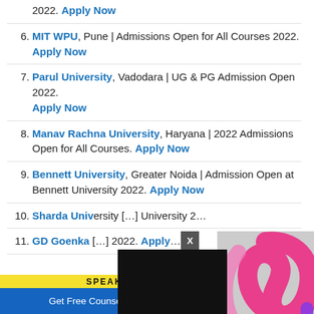2022. Apply Now
6. MIT WPU, Pune | Admissions Open for All Courses 2022. Apply Now
7. Parul University, Vadodara | UG & PG Admission Open 2022. Apply Now
8. Manav Rachna University, Haryana | 2022 Admissions Open for All Courses. Apply Now
9. Bennett University, Greater Noida | Admission Open at Bennett University 2022. Apply Now
10. Sharda University [partially obscured] University 2[obscured]
11. GD Goenka [partially obscured] 2022. Apply [obscured]
[Figure (screenshot): Video player overlay showing Ureka Media logo with play button and mute controls, with X close button]
[Figure (screenshot): SPEAK ENGLISH advertisement banner in yellow]
Get Free Counselling for UG and PG Courses 2022